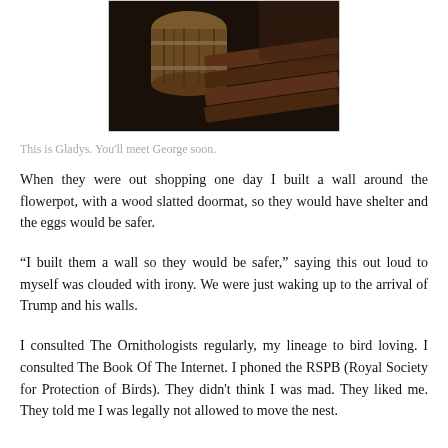[Figure (photo): A dark photograph showing wooden slats and a cylindrical object, likely a flowerpot with a wood slatted doormat shelter built around it.]
This is Gladys. You'll meet George soon.
When they were out shopping one day I built a wall around the flowerpot, with a wood slatted doormat, so they would have shelter and the eggs would be safer.
“I built them a wall so they would be safer,” saying this out loud to myself was clouded with irony. We were just waking up to the arrival of Trump and his walls.
I consulted The Ornithologists regularly, my lineage to bird loving. I consulted The Book Of The Internet. I phoned the RSPB (Royal Society for Protection of Birds). They didn't think I was mad. They liked me. They told me I was legally not allowed to move the nest.